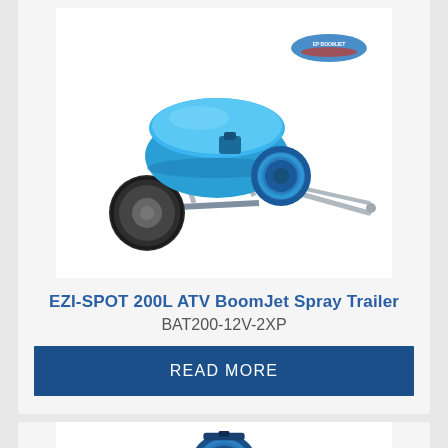[Figure (photo): EZI-SPOT 200L ATV BoomJet Spray Trailer product photo - blue tank on wheeled frame with hose reel and tow bar]
EZI-SPOT 200L ATV BoomJet Spray Trailer
BAT200-12V-2XP
READ MORE
[Figure (photo): Blue hose reel with brass fittings product photo]